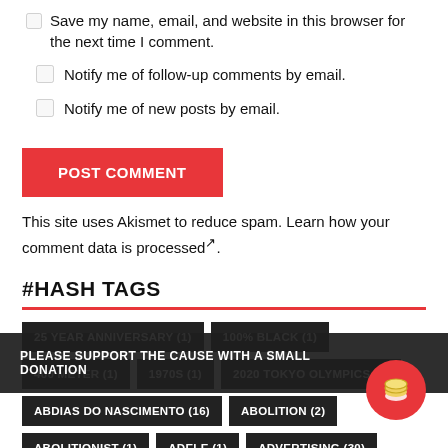Save my name, email, and website in this browser for the next time I comment.
Notify me of follow-up comments by email.
Notify me of new posts by email.
POST COMMENT
This site uses Akismet to reduce spam. Learn how your comment data is processed↗.
#HASH TAGS
25 YEAR ANNIVERSARY (1)  100% BLACK (1)  400 METER (1)  1970S (1)  2020 TOKYO OLYMPICS (1)  ABDIAS DO NASCIMENTO (16)  ABOLITION (2)  ABOLITIONIST (1)  ADELE (1)  ADVERTISING (30)  AFFIRMATIVE ACTION (99)  AFREEKASSIA (1)  AFRICA (34)
PLEASE SUPPORT THE CAUSE WITH A SMALL DONATION